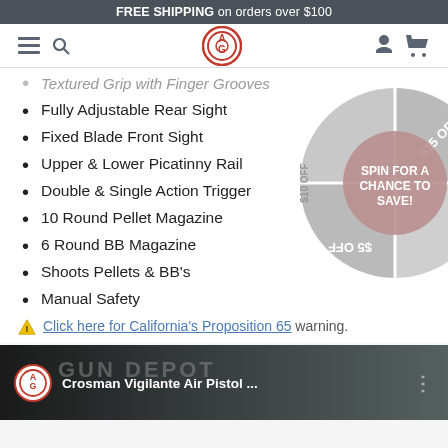FREE SHIPPING on orders over $100
[Figure (logo): Gun Depot circular logo with navigation icons (hamburger, search, user, cart)]
Textured Grip with Finger Grooves (partial)
Fully Adjustable Rear Sight
Fixed Blade Front Sight
Upper & Lower Picatinny Rail
Double & Single Action Trigger
10 Round Pellet Magazine
6 Round BB Magazine
Shoots Pellets & BB's
Manual Safety
⚠ Click here for California's Proposition 65 warning.
[Figure (infographic): Spin-the-wheel promotional overlay with sections labeled $15 OFF, $20 OFF, $5 OFF, $10 OFF and center circle reading SPIN FOR A CHANCE TO SAVE!]
[Figure (screenshot): Video thumbnail showing Crosman Vigilante Air Pistol with Gun Depot logo]